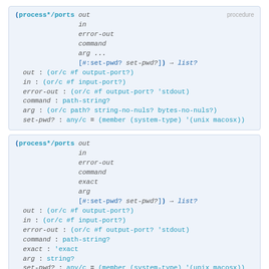(process*/ports out in error-out command arg ... [#:set-pwd? set-pwd?]) → list?  procedure
out : (or/c #f output-port?)
in : (or/c #f input-port?)
error-out : (or/c #f output-port? 'stdout)
command : path-string?
arg : (or/c path? string-no-nuls? bytes-no-nuls?)
set-pwd? : any/c = (member (system-type) '(unix macosx))
(process*/ports out in error-out command exact arg [#:set-pwd? set-pwd?]) → list?
out : (or/c #f output-port?)
in : (or/c #f input-port?)
error-out : (or/c #f output-port? 'stdout)
command : path-string?
exact : 'exact
arg : string?
set-pwd? : any/c = (member (system-type) '(unix macosx))
Like process*, but with the port handling of process/ports.